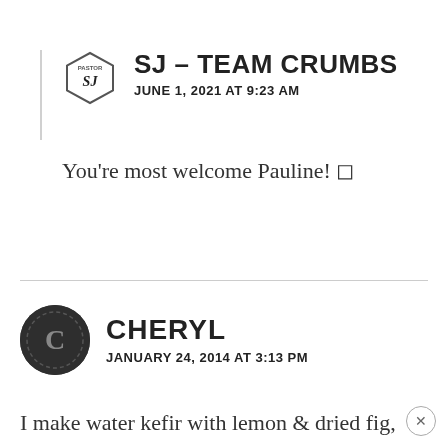SJ – TEAM CRUMBS
JUNE 1, 2021 AT 9:23 AM
You're most welcome Pauline! 🙂
CHERYL
JANUARY 24, 2014 AT 3:13 PM
I make water kefir with lemon & dried fig, now if I was using kefir water for sourdough would I make it without the fruit ? I'm planning on making